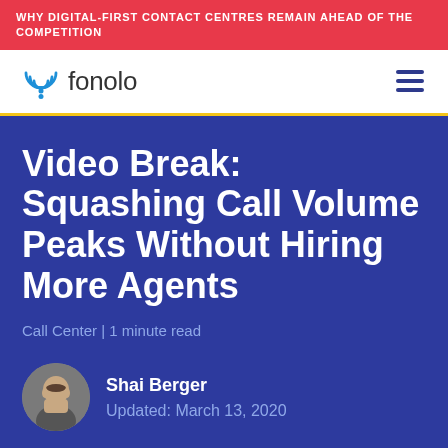WHY DIGITAL-FIRST CONTACT CENTRES REMAIN AHEAD OF THE COMPETITION
[Figure (logo): Fonolo logo with wifi/signal icon in blue and the word fonolo in dark grey text]
Video Break: Squashing Call Volume Peaks Without Hiring More Agents
Call Center | 1 minute read
Shai Berger
Updated: March 13, 2020